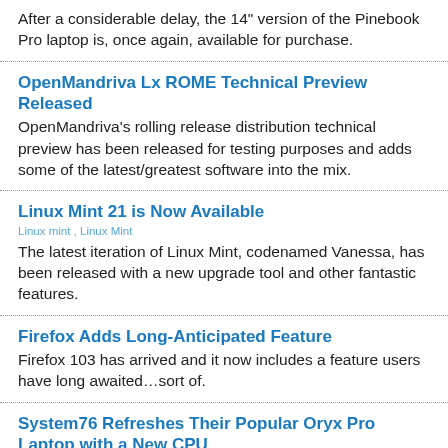After a considerable delay, the 14" version of the Pinebook Pro laptop is, once again, available for purchase.
OpenMandriva Lx ROME Technical Preview Released
OpenMandriva's rolling release distribution technical preview has been released for testing purposes and adds some of the latest/greatest software into the mix.
Linux Mint 21 is Now Available
Linux mint , Linux Mint
The latest iteration of Linux Mint, codenamed Vanessa, has been released with a new upgrade tool and other fantastic features.
Firefox Adds Long-Anticipated Feature
Firefox 103 has arrived and it now includes a feature users have long awaited…sort of.
System76 Refreshes Their Popular Oryx Pro Laptop with a New CPU
The System76 Oryx Pro laptop has been relaunched with a 12th Gen CPU and more powerful graphics options.
Elive Has Released a New Beta